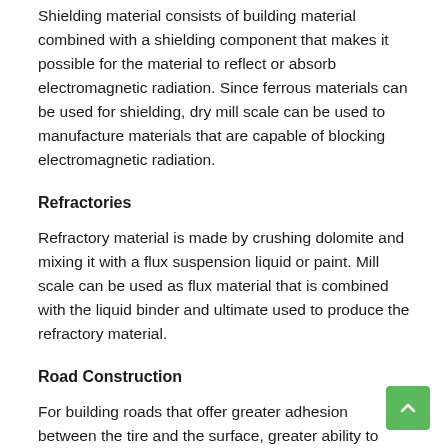Shielding material consists of building material combined with a shielding component that makes it possible for the material to reflect or absorb electromagnetic radiation. Since ferrous materials can be used for shielding, dry mill scale can be used to manufacture materials that are capable of blocking electromagnetic radiation.
Refractories
Refractory material is made by crushing dolomite and mixing it with a flux suspension liquid or paint. Mill scale can be used as flux material that is combined with the liquid binder and ultimate used to produce the refractory material.
Road Construction
For building roads that offer greater adhesion between the tire and the surface, greater ability to withstand abrasive contact, and even conduction of surface heat, mill scale can be added to the building material as an additional